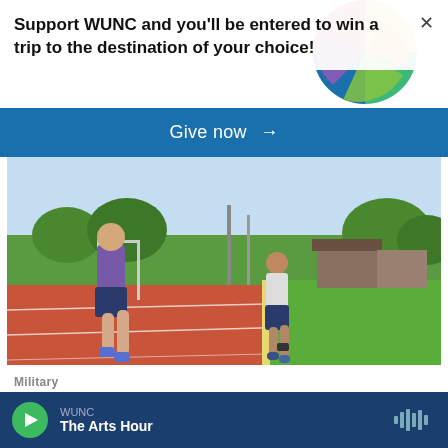Support WUNC and you'll be entered to win a trip to the destination of your choice!
Give now →
[Figure (photo): Two people running on a red athletic track outdoors, wearing athletic gear, with green grass, goalposts, buildings and trees in the background.]
Military
The Space Force will track troops'
WUNC
The Arts Hour